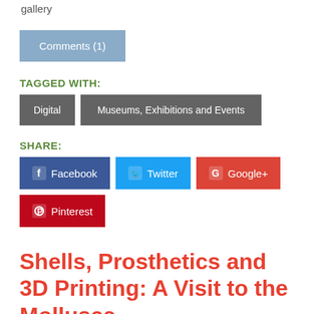gallery
Comments (1)
TAGGED WITH:
Digital
Museums, Exhibitions and Events
SHARE:
Facebook
Twitter
Google+
Pinterest
Shells, Prosthetics and 3D Printing: A Visit to the Mollusca